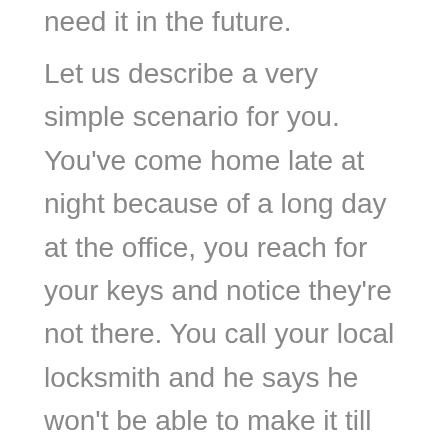need it in the future.
Let us describe a very simple scenario for you. You've come home late at night because of a long day at the office, you reach for your keys and notice they're not there. You call your local locksmith and he says he won't be able to make it till the morning. Is this not a very plausible scenario that could happen to any of us? Many posts regarding lock-picking online give examples of being kidnapped as their examples. We agree that those